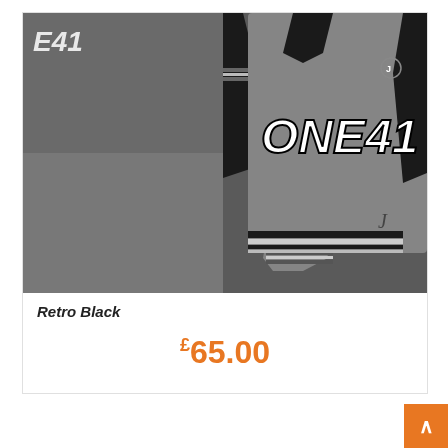[Figure (photo): Product photo showing ONE41 branded hockey jerseys in retro black colorway — grey and black jerseys displayed from front, back, and side angles against a grey background with the ONE41 logo visible.]
Retro Black
£65.00